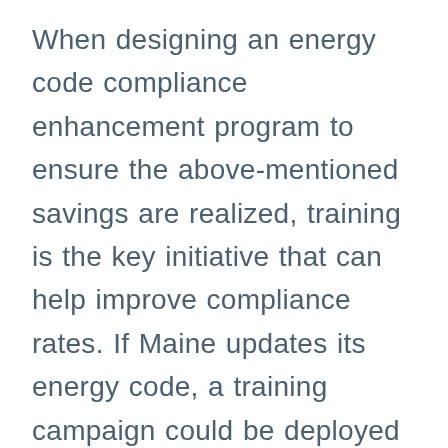When designing an energy code compliance enhancement program to ensure the above-mentioned savings are realized, training is the key initiative that can help improve compliance rates. If Maine updates its energy code, a training campaign could be deployed to counties of increased building development. For example, Cumberland County contains 26 percent of all commercial building developments. Commercial energy code trainings could be targeted to this area in order to reach a maximum number of builders, architects, building officials, and energy code offices.